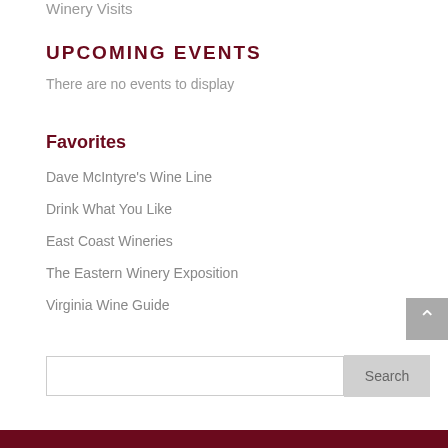Winery Visits
UPCOMING EVENTS
There are no events to display
Favorites
Dave McIntyre's Wine Line
Drink What You Like
East Coast Wineries
The Eastern Winery Exposition
Virginia Wine Guide
Search